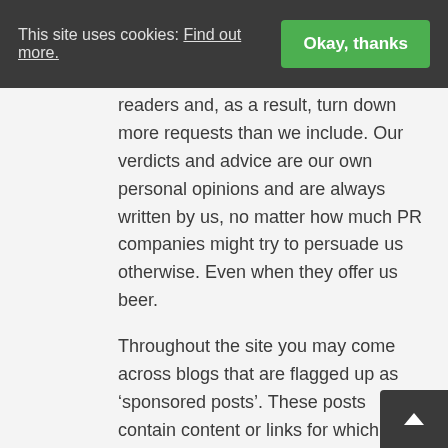This site uses cookies: Find out more. Okay, thanks
readers and, as a result, turn down more requests than we include. Our verdicts and advice are our own personal opinions and are always written by us, no matter how much PR companies might try to persuade us otherwise. Even when they offer us beer.
Throughout the site you may come across blogs that are flagged up as ‘sponsored posts’. These posts contain content or links for which we have received a fee. Again, we will only accept fees from companies that offer something relevant to our audience (so no gambling links, for example).
We do include some affiliate links t